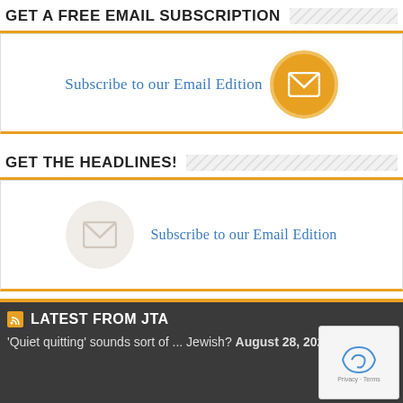GET A FREE EMAIL SUBSCRIPTION
[Figure (infographic): Subscribe to our Email Edition button with orange email icon circle]
GET THE HEADLINES!
[Figure (infographic): Subscribe to our Email Edition with ghost/pale email icon circle]
LATEST FROM JTA
'Quiet quitting' sounds sort of ... Jewish? August 28, 2022